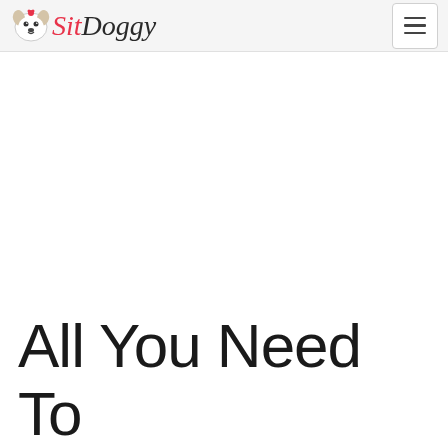SitDoggy - navigation header with logo and hamburger menu
All You Need To